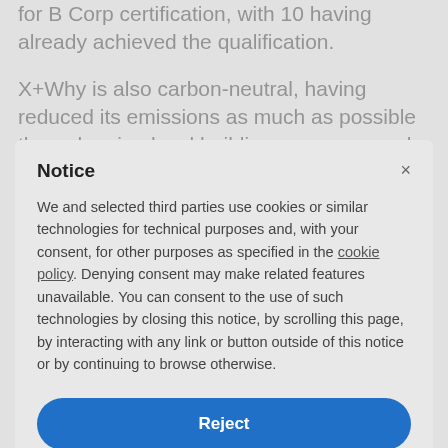for B Corp certification, with 10 having already achieved the qualification.
X+Why is also carbon-neutral, having reduced its emissions as much as possible through using local building resources and auditing its supply
Notice
We and selected third parties use cookies or similar technologies for technical purposes and, with your consent, for other purposes as specified in the cookie policy. Denying consent may make related features unavailable. You can consent to the use of such technologies by closing this notice, by scrolling this page, by interacting with any link or button outside of this notice or by continuing to browse otherwise.
Reject